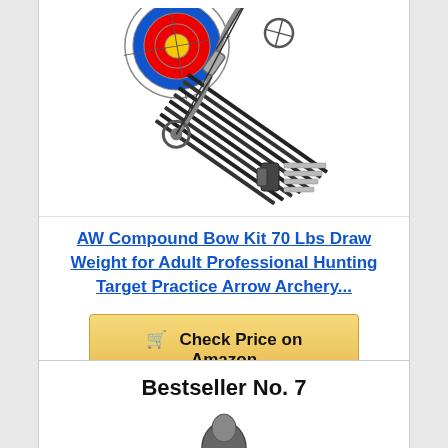[Figure (photo): Compound bow kit product image showing bow, target, and accessories arranged diagonally]
AW Compound Bow Kit 70 Lbs Draw Weight for Adult Professional Hunting Target Practice Arrow Archery...
Check Price on Amazon
Bestseller No. 7
[Figure (photo): Partial product image at bottom of page]